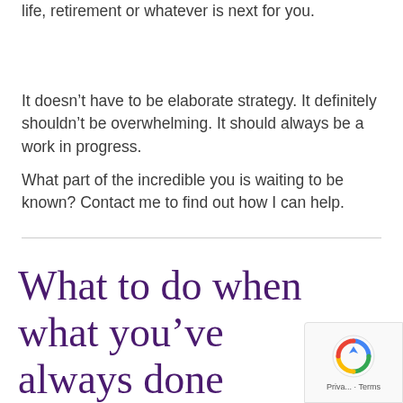life, retirement or whatever is next for you.
It doesn’t have to be elaborate strategy. It definitely shouldn’t be overwhelming. It should always be a work in progress.
What part of the incredible you is waiting to be known? Contact me to find out how I can help.
What to do when what you’ve always done doesn’t do it for you anymore